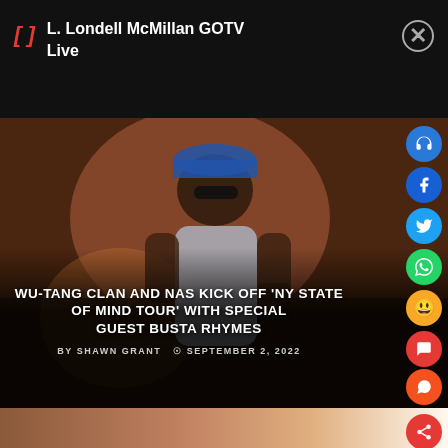L. Londell McMillan GOTV Live
[Figure (photo): A performer wearing sunglasses and a gray short-sleeve shirt on stage with colorful background lighting. Article hero image.]
WU-TANG CLAN AND NAS KICK OFF 'NY STATE OF MIND TOUR' WITH SPECIAL GUEST BUSTA RHYMES
BY SHAWN GRANT  © SEPTEMBER 2, 2022
[Figure (photo): Partial view of another photo at the bottom of the page, showing a warm-toned image partially visible.]